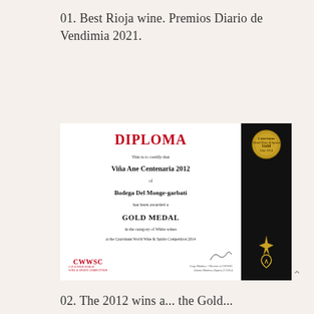01. Best Rioja wine. Premios Diario de Vendimia 2021.
[Figure (photo): A diploma certificate from CWWSC (Catavinum World Wine & Spirits Competition) awarding a Gold Medal in the category of White wines to Viña Ane Centenaria 2012 of Bodega Del Monge-garbati at the Catavinum World Wine & Spirits Competition 2014. The diploma has a white left section with red DIPLOMA heading and black text, and a black right side panel featuring a gold medal emblem and a decorative emblem/signature in gold.]
02. The 2012 wins a... the Gold...